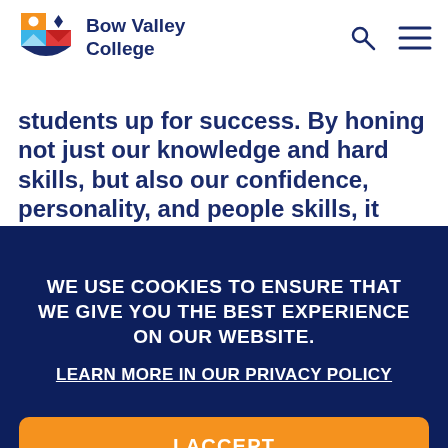[Figure (logo): Bow Valley College logo with colorful shield icon and text]
students up for success. By honing not just our knowledge and hard skills, but also our confidence, personality, and people skills, it encourages student excellence and
WE USE COOKIES TO ENSURE THAT WE GIVE YOU THE BEST EXPERIENCE ON OUR WEBSITE. LEARN MORE IN OUR PRIVACY POLICY
I ACCEPT